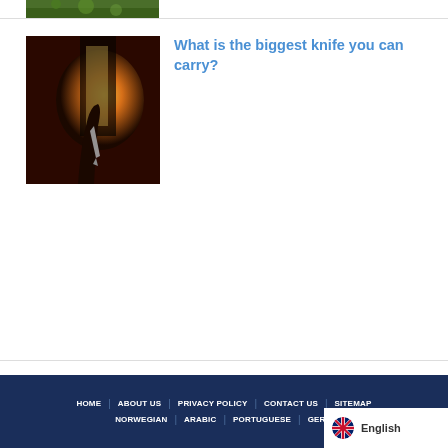[Figure (photo): Partial top strip of a nature/forest image visible at the very top of the page]
[Figure (photo): A silhouette of a hand holding a knife against a bright orange/golden backlight, dramatic atmospheric composition]
What is the biggest knife you can carry?
HOME | ABOUT US | PRIVACY POLICY | CONTACT US | SITEMAP | NORWEGIAN | ARABIC | PORTUGUESE | GER...
[Figure (other): English language selector widget showing UK flag and the word English]